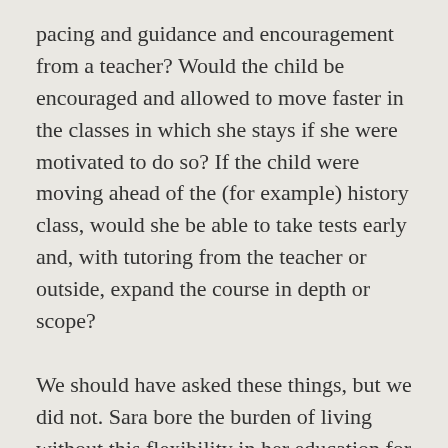pacing and guidance and encouragement from a teacher? Would the child be encouraged and allowed to move faster in the classes in which she stays if she were motivated to do so? If the child were moving ahead of the (for example) history class, would she be able to take tests early and, with tutoring from the teacher or outside, expand the course in depth or scope?
We should have asked these things, but we did not. Sara bore the burden of living without this flexibility in her education for three years. During Sara's time in that school, we were stymied anytime we sought a solution to a problem, no matter how